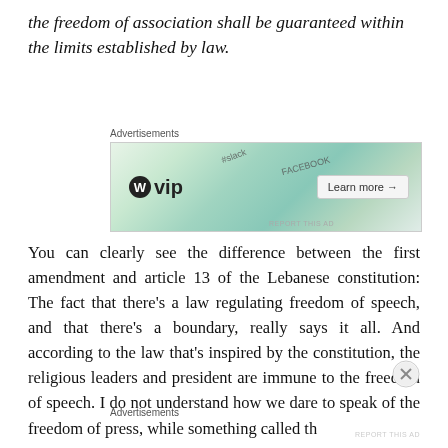the freedom of association shall be guaranteed within the limits established by law.
[Figure (other): Advertisement banner for WordPress VIP showing WordPress logo, hashtags for Slack and Facebook, and a Learn more button]
You can clearly see the difference between the first amendment and article 13 of the Lebanese constitution: The fact that there's a law regulating freedom of speech, and that there's a boundary, really says it all. And according to the law that's inspired by the constitution, the religious leaders and president are immune to the freedom of speech. I do not understand how we dare to speak of the freedom of press, while something called th
Advertisements